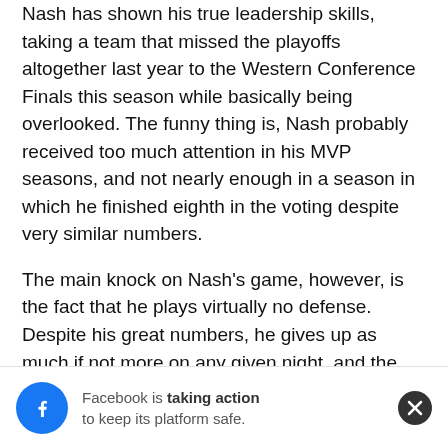Nash has shown his true leadership skills, taking a team that missed the playoffs altogether last year to the Western Conference Finals this season while basically being overlooked.  The funny thing is, Nash probably received too much attention in his MVP seasons, and not nearly enough in a season in which he finished eighth in the voting despite very similar numbers.
The main knock on Nash's game, however, is the fact that he plays virtually no defense.  Despite his great numbers, he gives up as much if not more on any given night, and the Suns lack of size this year has not been able to cover that.  This is the main reason that younger point guards have the ability to score at will on the Suns, and always seem to win the individual match-ups with Nash.  Regardless, while most analysts want to write off Nash and look to the future when deciding the NBA's best point guard, ss puttinc
[Figure (other): Facebook notification banner: Facebook logo icon with text 'Facebook is taking action to keep its platform safe.' and a close (X) button.]